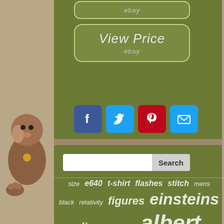[Figure (screenshot): eBay button at top of green panel]
[Figure (screenshot): View Price ebay button - large rounded rectangle on olive green background]
[Figure (infographic): Social sharing icons row: Facebook (blue), Twitter (light blue), Pinterest (red), Email (light blue)]
[Figure (screenshot): Search input field with Search button]
size  e640  t-shirt  flashes  stitch  mens
black  relativity  figures  einsteins
disney  used  albert
vintage  suit  hugo